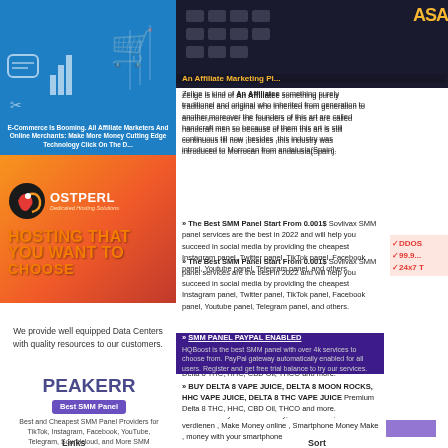[Figure (infographic): Blue banner with e-commerce icons (chat bubbles, shopping cart, chart) and text 'E-Commerce Is Booming. All Affiliate Marketers And Online Merchants: Make More Money...']
E-Commerce Is Booming. All Affiliate Marketers And Online Merchants: Make More Money Cutting Edge Technology Click On The D...
[Figure (logo): HostPerl logo on orange-red gradient background with dedicated hosting solutions tagline]
We provide well equipped Data Centers with quality resources to our customers.
Zellge is kind of An Affiliatee something purely traditionel and original who inherited from generation to another,moreover the founders of this art are called handcraft men so because of them this art is still continuous till now ;besides ,this industry was introduced to Morrocan from andalusia(Spain).
An Affiliate Marketing Pl...
[Figure (infographic): Orange text overlay reading HOSTING THAT YOU WANT TO CHOOSE with DDOS, 99.9, 24x7 badges on right]
» The Best SMM Panel Start From 0.001$ Soviivax SMM panel services are the best in 2022 and will help you succeed in social media by providing the cheapest Instagram panel, Twitter panel, TikTok panel, Facebook panel, Youtube panel, Telegram panel, and others.
» SMM PANEL PAYPAL ENABLED HQBoost is the best SMM panel with over 4k services to choose from. PayPal gateway automatically enabled for all users. Register and get free trial balance to try our services.
[Figure (infographic): Purple banner with text 'Best and Cheapest']
» Make Money online Germany, Deutschland , Geld online verdienen , Make Money online , Smartphone Money Make , money with your smartphone
» BUY DELTA 8 VAPE JUICE, DELTA 8 MOON ROCKS, HHC VAPE JUICE, DELTA 8 THC VAPE JUICE Premium Delta 8 THC, HHC, CBD Oil, THCO and more.
[Figure (logo): PEAKERR - Best SMM Panel logo]
Best and Cheapest SMM Panel Providers for TikTok, Instagram, Facebook, YouTube, Telegram, Soundcloud, and More SMM Services.
Links
Sort